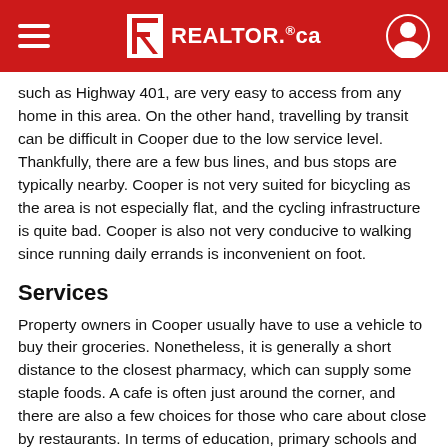REALTOR.ca
such as Highway 401, are very easy to access from any home in this area. On the other hand, travelling by transit can be difficult in Cooper due to the low service level. Thankfully, there are a few bus lines, and bus stops are typically nearby. Cooper is not very suited for bicycling as the area is not especially flat, and the cycling infrastructure is quite bad. Cooper is also not very conducive to walking since running daily errands is inconvenient on foot.
Services
Property owners in Cooper usually have to use a vehicle to buy their groceries. Nonetheless, it is generally a short distance to the closest pharmacy, which can supply some staple foods. A cafe is often just around the corner, and there are also a few choices for those who care about close by restaurants. In terms of education, primary schools and daycares are straightforward to get to on foot from most homes for sale in Cooper. On the other hand, Cooper does not contain any high schools.